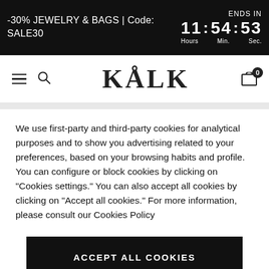-30% JEWELRY & BAGS | Code: SALE30   ENDS IN  11 : 54 : 53  Hours  Min.  Sec.
[Figure (logo): KÅLK brand logo with navigation icons: hamburger menu, search, and cart with 0 badge]
We use first-party and third-party cookies for analytical purposes and to show you advertising related to your preferences, based on your browsing habits and profile. You can configure or block cookies by clicking on “Cookies settings.” You can also accept all cookies by clicking on “Accept all cookies.” For more information, please consult our Cookies Policy
ACCEPT ALL COOKIES
Cookies Settings